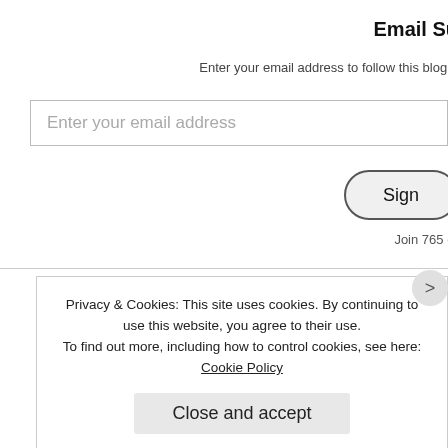Email Su
Enter your email address to follow this blog a
Enter your email address
Sign
Join 765 ot
Blo
Chris
Dan T
Jeff
Kevin
Privacy & Cookies: This site uses cookies. By continuing to use this website, you agree to their use.
To find out more, including how to control cookies, see here: Cookie Policy
Close and accept